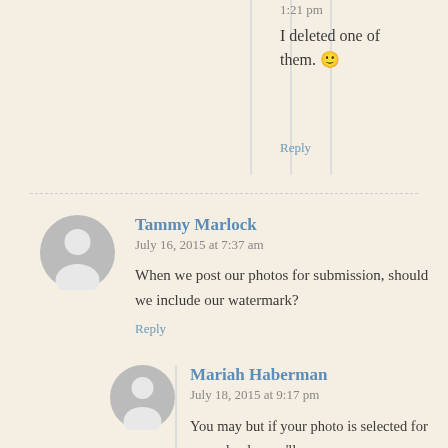1:21 pm
I deleted one of them. 🙂
Reply
Tammy Marlock
July 16, 2015 at 7:37 am
When we post our photos for submission, should we include our watermark?
Reply
[Figure (illustration): Generic user avatar silhouette for Tammy Marlock]
Mariah Haberman
July 18, 2015 at 9:17 pm
[Figure (illustration): Generic user avatar silhouette for Mariah Haberman]
You may but if your photo is selected for our calendar, we'll